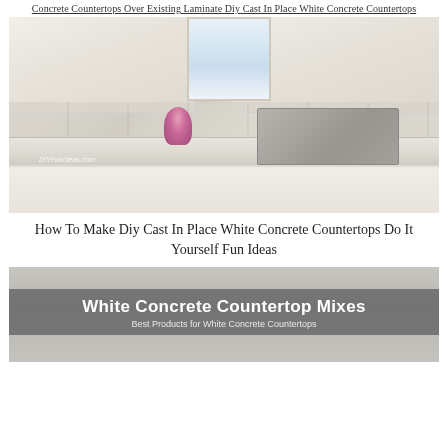Concrete Countertops Over Existing Laminate Diy Cast In Place White Concrete Countertops
[Figure (photo): Kitchen photo showing white concrete countertops with a double basin undermount sink, white cabinets with gold hardware, marble tile backsplash, and a plant with pink flowers. Watermark reads DIYFunIdeas.com]
How To Make Diy Cast In Place White Concrete Countertops Do It Yourself Fun Ideas
[Figure (photo): Photo of a kitchen countertop with a semi-transparent dark overlay banner reading 'White Concrete Countertop Mixes' in bold white text, with subtitle 'Best Products for White Concrete Countertops']